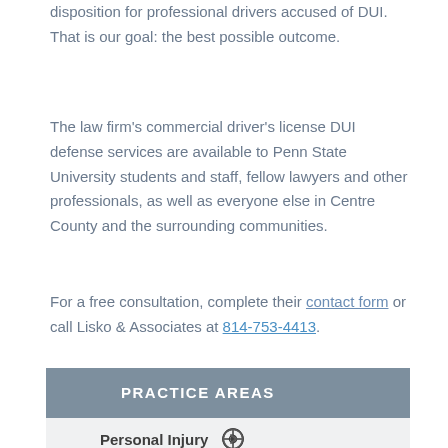disposition for professional drivers accused of DUI. That is our goal: the best possible outcome.
The law firm’s commercial driver’s license DUI defense services are available to Penn State University students and staff, fellow lawyers and other professionals, as well as everyone else in Centre County and the surrounding communities.
For a free consultation, complete their contact form or call Lisko & Associates at 814-753-4413.
PRACTICE AREAS
Personal Injury
Criminal Defense